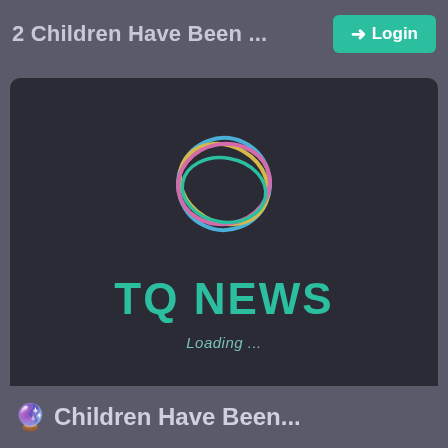2 Children Have Been ... Login
[Figure (logo): TQ NEWS app loading screen with multicolored interlocking rings logo (blue, yellow, pink) on dark background, with 'TQ NEWS' in teal bold text and 'Loading ...' subtitle]
Children Have Been...